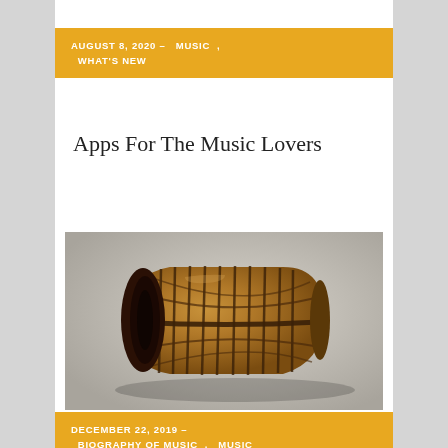AUGUST 8, 2020 – MUSIC , WHAT'S NEW
Apps For The Music Lovers
[Figure (photo): A barrel-shaped wooden drum (mridanga/tabla) photographed on a neutral grey background. The drum is brown with dark straps running along its length and crossed in the middle.]
DECEMBER 22, 2019 – BIOGRAPHY OF MUSIC , MUSIC